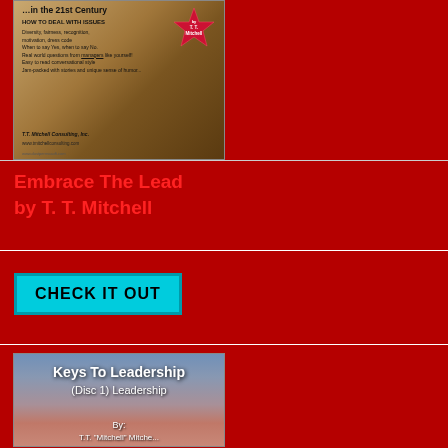[Figure (photo): Book cover image for 'Embrace The Lead' by T.T. Mitchell — a leadership book cover with brown/gold coloring, text about dealing with workplace issues, a red starburst badge, and T.T. Mitchell Consulting Inc. branding]
Embrace The Lead
by T. T. Mitchell
[Figure (other): Cyan/teal 'CHECK IT OUT' button]
[Figure (photo): Book/audio product cover for 'Keys To Leadership (Disc 1) Leadership' by T.T. Mitchell — featuring a sky/clouds background image with bold white text]